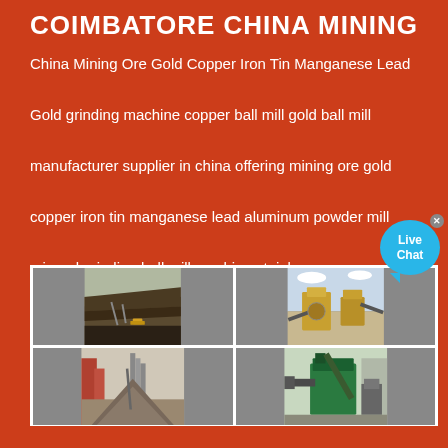COIMBATORE CHINA MINING
China Mining Ore Gold Copper Iron Tin Manganese Lead Gold grinding machine copper ball mill gold ball mill manufacturer supplier in china offering mining ore gold copper iron tin manganese lead aluminum powder mill mineral grinding ball mill machine stainless ...
[Figure (photo): Four photographs of mining operations and equipment: top-left shows an open-pit mine with conveyors and heavy machinery; top-right shows industrial crushing/processing equipment with large machinery; bottom-left shows a pile of aggregate/ore with conveyor systems and buildings; bottom-right shows green industrial machinery and equipment.]